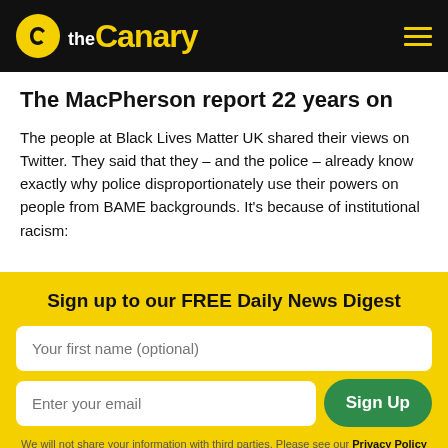the Canary
The MacPherson report 22 years on
The people at Black Lives Matter UK shared their views on Twitter. They said that they – and the police – already know exactly why police disproportionately use their powers on people from BAME backgrounds. It's because of institutional racism:
Sign up to our FREE Daily News Digest
Your first name (optional)
Enter your email
Sign Up
We will not share your information with third parties. Please see our Privacy Policy for information.